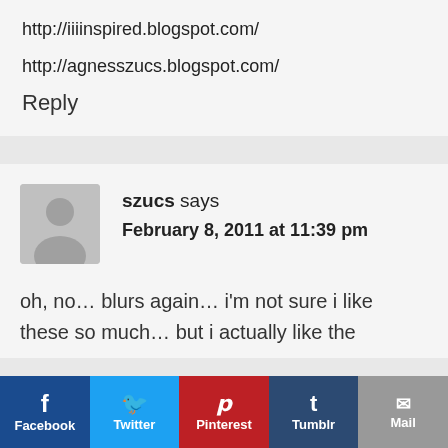http://iiiinspired.blogspot.com/
http://agnesszucs.blogspot.com/
Reply
szucs says
February 8, 2011 at 11:39 pm
oh, no… blurs again… i'm not sure i like these so much… but i actually like the
Facebook  Twitter  Pinterest  Tumblr  Mail